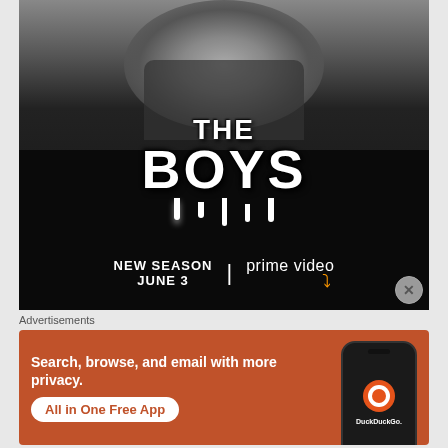[Figure (photo): Advertisement for 'The Boys' on Amazon Prime Video. Black and white image of a bearded man from the chin down wearing a dark coat. Large white dripping graffiti-style text reads 'THE BOYS'. Below that, white text reads 'NEW SEASON JUNE 3 | prime video' with Amazon Prime Video logo and arrow. A close button (X in circle) appears in the bottom right corner of the ad.]
Advertisements
[Figure (photo): DuckDuckGo advertisement on orange background. Left side shows white bold text: 'Search, browse, and email with more privacy.' Below that a white rounded button with orange text 'All in One Free App'. Right side shows a smartphone displaying the DuckDuckGo app with its logo (orange circle with duck icon) and text 'DuckDuckGo.' below.]